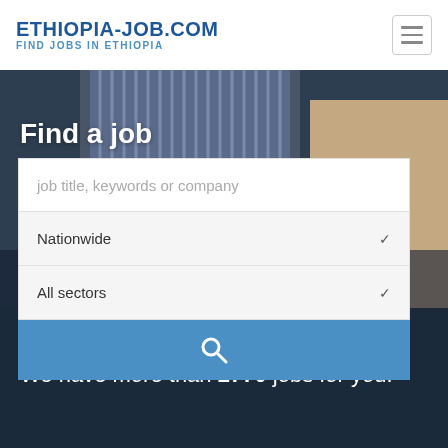ETHIOPIA-JOB.COM FIND JOBS IN ETHIOPIA
[Figure (photo): Background photo showing professionals in business attire, partially obscured by search form overlay]
Find a job
job title, keywords or company
Nationwide
All sectors
Fin a job by job title or by location
We have more than 2770 jobs for you!